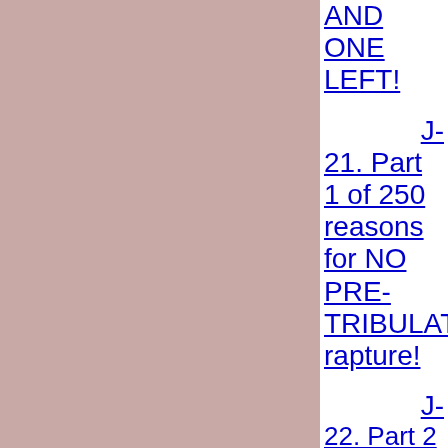[Figure (other): Pink/mauve colored rectangle occupying the left two-thirds of the page]
AND ONE LEFT! J-21. Part 1 of 250 reasons for NO PRE-TRIBULATION rapture! J-22. Part 2